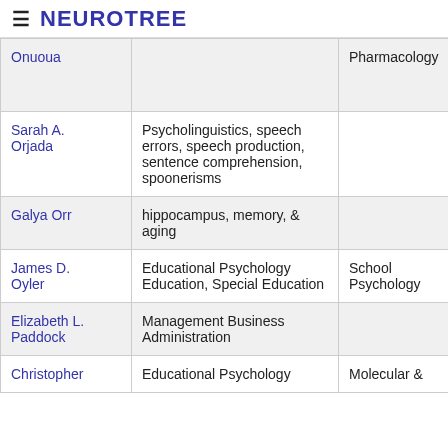≡ NEUROTREE
| Name | Interests | Field |  |
| --- | --- | --- | --- |
| Onuoua |  | Pharmacology |  |
| Sarah A. Orjada | Psycholinguistics, speech errors, speech production, sentence comprehension, spoonerisms |  |  |
| Galya Orr | hippocampus, memory, & aging |  |  |
| James D. Oyler | Educational Psychology Education, Special Education | School Psychology |  |
| Elizabeth L. Paddock | Management Business Administration |  |  |
| Christopher | Educational Psychology | Molecular & |  |